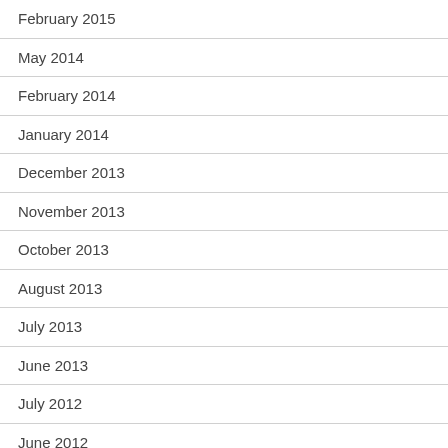February 2015
May 2014
February 2014
January 2014
December 2013
November 2013
October 2013
August 2013
July 2013
June 2013
July 2012
June 2012